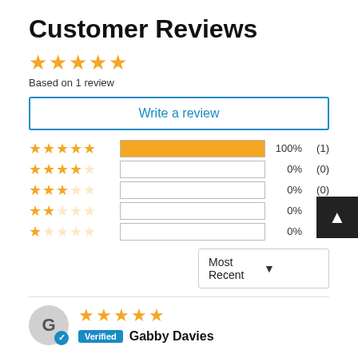Customer Reviews
Based on 1 review
Write a review
[Figure (infographic): Rating breakdown bars: 5-star 100% (1), 4-star 0% (0), 3-star 0% (0), 2-star 0% (0), 1-star 0% (0)]
Most Recent
[Figure (infographic): Reviewer avatar with letter G and verified badge]
Verified  Gabby Davies